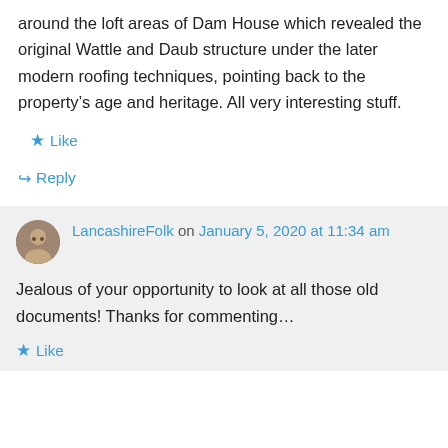around the loft areas of Dam House which revealed the original Wattle and Daub structure under the later modern roofing techniques, pointing back to the property's age and heritage. All very interesting stuff.
★ Like
↳ Reply
LancashireFolk on January 5, 2020 at 11:34 am
Jealous of your opportunity to look at all those old documents! Thanks for commenting…
★ Like